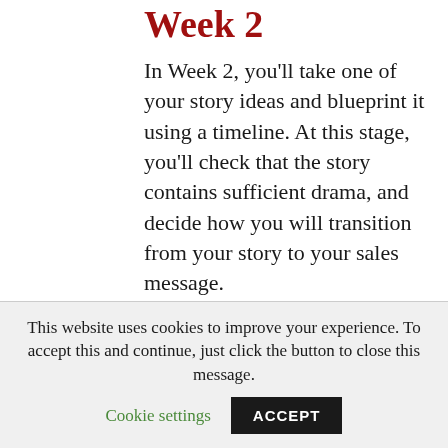Week 2
In Week 2, you'll take one of your story ideas and blueprint it using a timeline. At this stage, you'll check that the story contains sufficient drama, and decide how you will transition from your story to your sales message.
Week 3
In Week 3, you'll take your timeline blueprint and create a 'Speedy First
This website uses cookies to improve your experience. To accept this and continue, just click the button to close this message.